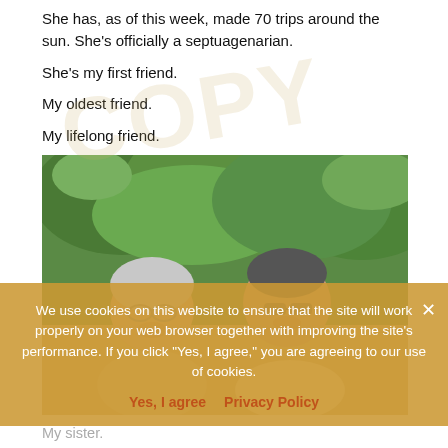She has, as of this week, made 70 trips around the sun. She's officially a septuagenarian.
She's my first friend.
My oldest friend.
My lifelong friend.
[Figure (photo): Two older women smiling outdoors with green trees in the background. One has gray hair and glasses, the other has short dark hair and sunglasses.]
We use cookies on this website to ensure that the site will work properly on your web browser together with improving the site's performance. If you click "Yes, I agree," you are agreeing to our use of cookies.
Yes, I agree   Privacy Policy
My sister.